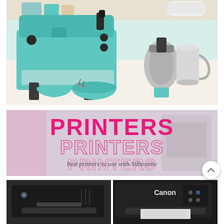[Figure (photo): Heat press machine in teal/mint color with various attachments including a mug press, hat press, and flat plate attachments laid out on a white table. Background shows shelving with supplies.]
[Figure (infographic): Banner image with the word PRINTERS repeated three times in decreasing opacity (bold pink/magenta), with subtitle text 'best printers to use with Silhouette' in cursive script. Background shows blurred printer images.]
[Figure (photo): Two printer images side by side: left shows a dark/black printer, right shows a Canon inkjet printer with paper loaded.]